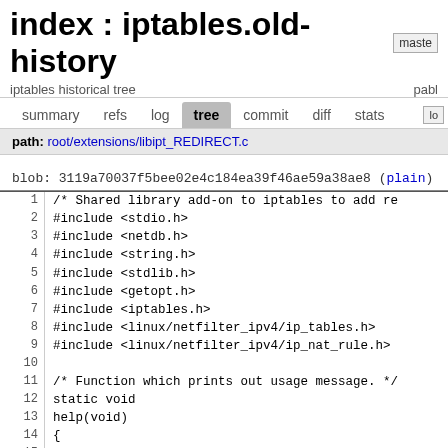index : iptables.old-history
iptables historical tree
summary  refs  log  tree  commit  diff  stats  log
path: root/extensions/libipt_REDIRECT.c
blob: 3119a70037f5bee02e4c184ea39f46ae59a38ae8 (plain)
1  /* Shared library add-on to iptables to add re
2  #include <stdio.h>
3  #include <netdb.h>
4  #include <string.h>
5  #include <stdlib.h>
6  #include <getopt.h>
7  #include <iptables.h>
8  #include <linux/netfilter_ipv4/ip_tables.h>
9  #include <linux/netfilter_ipv4/ip_nat_rule.h>
10
11  /* Function which prints out usage message. */
12  static void
13  help(void)
14  {
15          printf(
16  "REDIRECT v%s options:\n"
17  " --to-ports <port>[-<port>]\n"